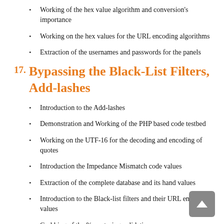Working of the hex value algorithm and conversion's importance
Working on the hex values for the URL encoding algorithms
Extraction of the usernames and passwords for the panels
17. Bypassing the Black-List Filters, Add-lashes
Introduction to the Add-lashes
Demonstration and Working of the PHP based code testbed
Working on the UTF-16 for the decoding and encoding of quotes
Introduction the Impedance Mismatch code values
Extraction of the complete database and its hand values
Introduction to the Black-list filters and their URL encoded values
Grabbing of the %- restoring validations
Bypassing the SPACE restricted validations
Extracting the complete database hand...on values